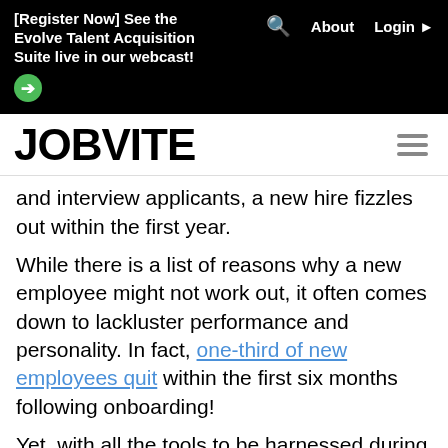[Register Now] See the Evolve Talent Acquisition Suite live in our webcast!  About  Login
JOBVITE
and interview applicants, a new hire fizzles out within the first year.
While there is a list of reasons why a new employee might not work out, it often comes down to lackluster performance and personality. In fact, one-third of new employees quit within the first six months following onboarding!
Yet, with all the tools to be harnessed during